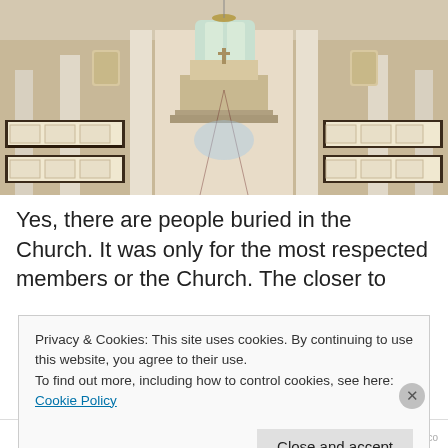[Figure (photo): Interior of a historic church showing wooden pews on both sides of a central aisle with a red/dark tile floor, white classical columns, and an altar at the far end with stained glass windows above it. A chandelier hangs from the ceiling. The perspective is from the back of the nave looking toward the altar.]
Yes, there are people buried in the Church. It was only for the most respected members or the Church. The closer to
Privacy & Cookies: This site uses cookies. By continuing to use this website, you agree to their use.
To find out more, including how to control cookies, see here: Cookie Policy
Close and accept